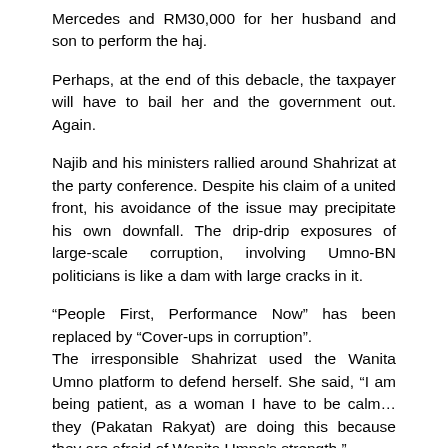Mercedes and RM30,000 for her husband and son to perform the haj.
Perhaps, at the end of this debacle, the taxpayer will have to bail her and the government out. Again.
Najib and his ministers rallied around Shahrizat at the party conference. Despite his claim of a united front, his avoidance of the issue may precipitate his own downfall. The drip-drip exposures of large-scale corruption, involving Umno-BN politicians is like a dam with large cracks in it.
“People First, Performance Now” has been replaced by “Cover-ups in corruption”.
The irresponsible Shahrizat used the Wanita Umno platform to defend herself. She said, “I am being patient, as a woman I have to be calm… they (Pakatan Rakyat) are doing this because they are afraid of Wanita Umno’s strength.”